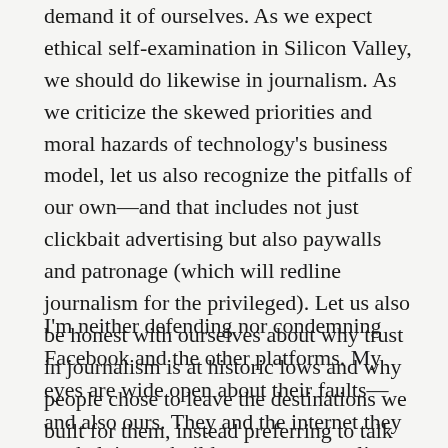demand it of ourselves. As we expect ethical self-examination in Silicon Valley, we should do likewise in journalism. As we criticize the skewed priorities and moral hazards of technology's business model, let us also recognize the pitfalls of our own—and that includes not just clickbait advertising but also paywalls and patronage (which will redline journalism for the privileged). Let us also be honest with ourselves about why trust in journalism is at historic lows and why people chose to leave the destinations we built for them, instead preferring to talk among themselves on social media. Let he who should live in a glass house—and expects everyone else to live in glass houses—think before throwing stones.
I'm neither defending nor condemning Facebook and the other platforms. My eyes are wide open about their faults—and also ours. They and the internet they are helping to build are our new reality and it is our mutual responsibility